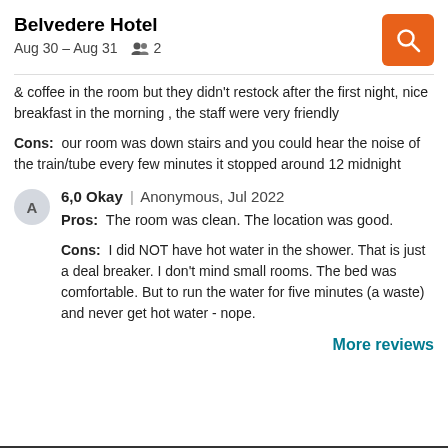Belvedere Hotel | Aug 30 – Aug 31 | 2 guests
& coffee in the room but they didn't restock after the first night, nice breakfast in the morning , the staff were very friendly
Cons: our room was down stairs and you could hear the noise of the train/tube every few minutes it stopped around 12 midnight
6,0 Okay | Anonymous, Jul 2022
Pros: The room was clean. The location was good.
Cons: I did NOT have hot water in the shower. That is just a deal breaker. I don't mind small rooms. The bed was comfortable. But to run the water for five minutes (a waste) and never get hot water - nope.
More reviews